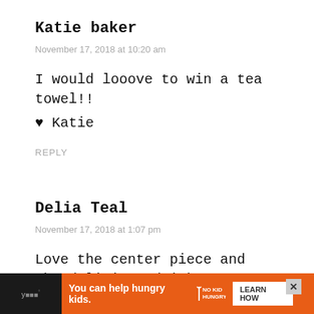Katie baker
November 17, 2018 at 10:20 am
I would looove to win a tea towel!!
♥ Katie
REPLY
Delia Teal
November 17, 2018 at 1:07 pm
Love the center piece and the delicious drink
[Figure (infographic): Ad banner at bottom: orange background with 'You can help hungry kids.' text, No Kid Hungry logo, Learn How button, close X button]